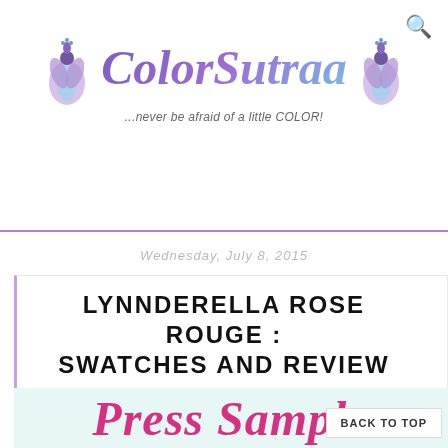ColorSutraa — ...never be afraid of a little COLOR!
Wednesday, July 8, 2015
LYNNDERELLA ROSE ROUGE : SWATCHES AND REVIEW
[Figure (photo): Press Sample cursive text in pink on light teal background]
BACK TO TOP